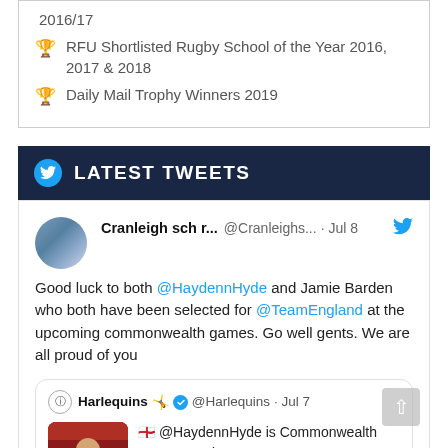2016/17
RFU Shortlisted Rugby School of the Year 2016, 2017 & 2018
Daily Mail Trophy Winners 2019
LATEST TWEETS
Cranleigh sch r... @Cranleighs... · Jul 8 — Good luck to both @HaydennHyde and Jamie Barden who both have been selected for @TeamEngland at the upcoming commonwealth games. Go well gents. We are all proud of you
Harlequins 🤸 ✅ @Harlequins · Jul 7 — 🏴󠁧󠁢󠁥󠁮󠁧󠁿 @HaydennHyde is Commonwealth Games ready. 📸 @TeamEngland